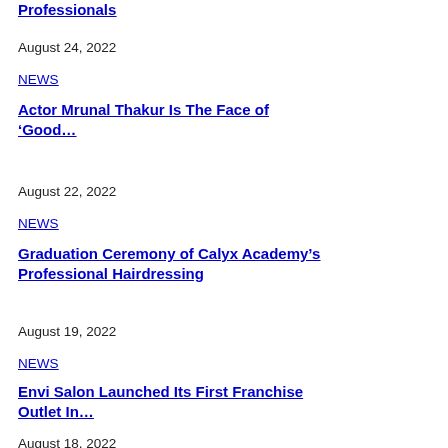Professionals
August 24, 2022
NEWS
Actor Mrunal Thakur Is The Face of ‘Good…
August 22, 2022
NEWS
Graduation Ceremony of Calyx Academy’s Professional Hairdressing
August 19, 2022
NEWS
Envi Salon Launched Its First Franchise Outlet In…
August 18, 2022